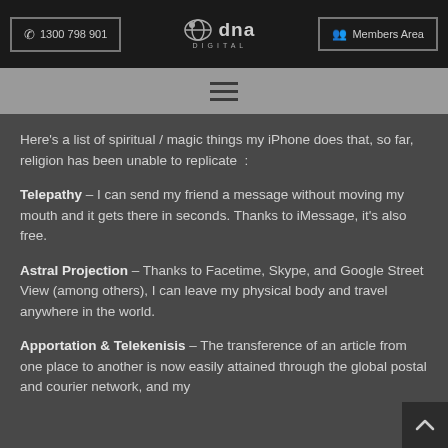1300 798 901 | DNA Digital | Members Area
[Figure (screenshot): Navigation bar with hamburger menu icon]
Here's a list of spiritual / magic things my iPhone does that, so far, religion has been unable to replicate :
Telepathy – I can send my friend a message without moving my mouth and it gets there in seconds. Thanks to iMessage, it's also free.
Astral Projection – Thanks to Facetime, Skype, and Google Street View (among others), I can leave my physical body and travel anywhere in the world.
Apportation & Telekenisis – The transference of an article from one place to another is now easily attained through the global postal and courier network, and my